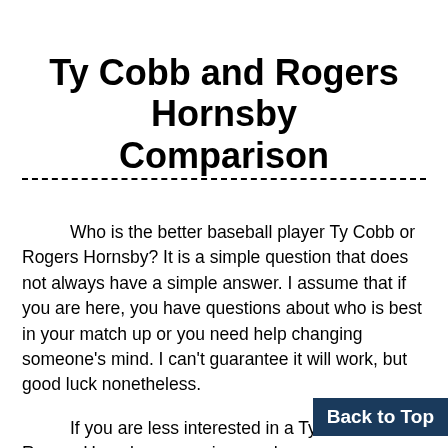Ty Cobb and Rogers Hornsby Comparison
Who is the better baseball player Ty Cobb or Rogers Hornsby? It is a simple question that does not always have a simple answer. I assume that if you are here, you have questions about who is best in your match up or you need help changing someone's mind. I can't guarantee it will work, but good luck nonetheless.
If you are less interested in a Ty Cobb vs. Rogers Hornsby comparison and are more interested to see if one is tracking the other, then you are in luck! Click the "View Charts" link in the stat box to see how they co their careers. The data table and charts on these pages
Back to Top